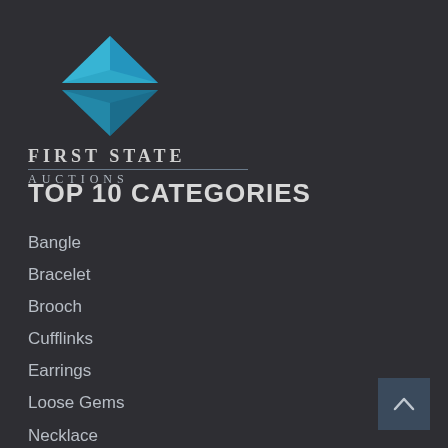[Figure (logo): First State Auctions logo: a blue diamond/gem shape above the brand name text]
TOP 10 CATEGORIES
Bangle
Bracelet
Brooch
Cufflinks
Earrings
Loose Gems
Necklace
Pendant
Ring
Watch